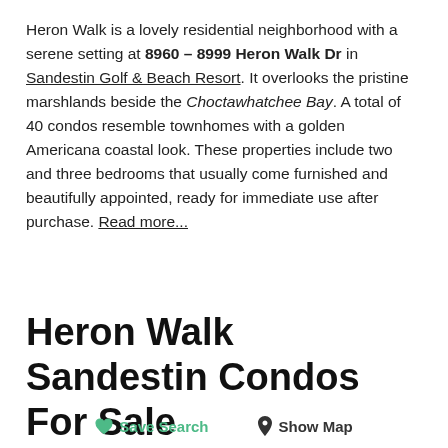Heron Walk is a lovely residential neighborhood with a serene setting at 8960 – 8999 Heron Walk Dr in Sandestin Golf & Beach Resort. It overlooks the pristine marshlands beside the Choctawhatchee Bay. A total of 40 condos resemble townhomes with a golden Americana coastal look. These properties include two and three bedrooms that usually come furnished and beautifully appointed, ready for immediate use after purchase. Read more...
Heron Walk Sandestin Condos For Sale
Save Search   Show Map